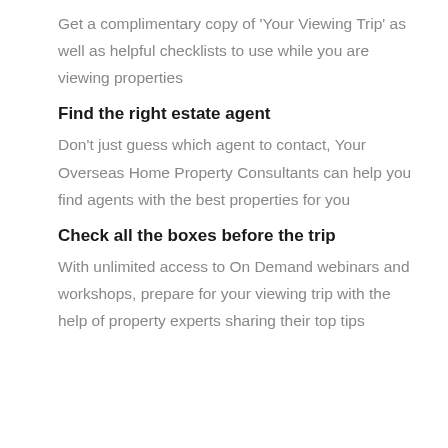Get a complimentary copy of 'Your Viewing Trip' as well as helpful checklists to use while you are viewing properties
Find the right estate agent
Don't just guess which agent to contact, Your Overseas Home Property Consultants can help you find agents with the best properties for you
Check all the boxes before the trip
With unlimited access to On Demand webinars and workshops, prepare for your viewing trip with the help of property experts sharing their top tips